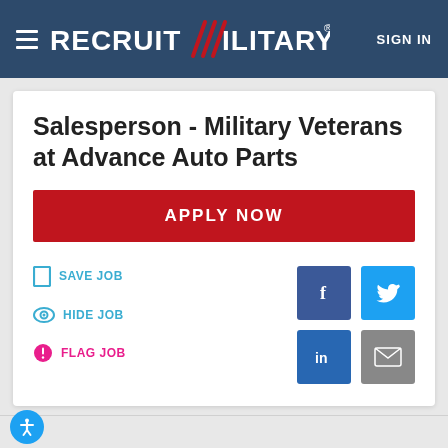RecruitMilitary® SIGN IN
Salesperson - Military Veterans at Advance Auto Parts
APPLY NOW
SAVE JOB
HIDE JOB
FLAG JOB
[Figure (screenshot): Social sharing buttons: Facebook (blue), Twitter (light blue), LinkedIn (dark blue), Email (gray)]